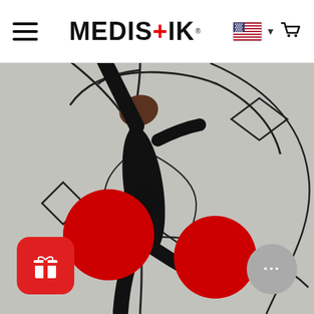MEDIS+IK — navigation header with hamburger menu, logo, US flag and cart icon
[Figure (photo): Aerial view of a person in black athletic wear doing a yoga or dance pose on a light concrete surface, overlaid with black anatomical body outline graphics and two large red circles indicating body/joint pain points. Red gift button and grey chat button visible at bottom corners.]